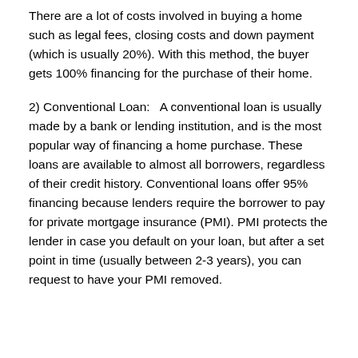There are a lot of costs involved in buying a home such as legal fees, closing costs and down payment (which is usually 20%). With this method, the buyer gets 100% financing for the purchase of their home.
2) Conventional Loan:   A conventional loan is usually made by a bank or lending institution, and is the most popular way of financing a home purchase. These loans are available to almost all borrowers, regardless of their credit history. Conventional loans offer 95% financing because lenders require the borrower to pay for private mortgage insurance (PMI). PMI protects the lender in case you default on your loan, but after a set point in time (usually between 2-3 years), you can request to have your PMI removed.